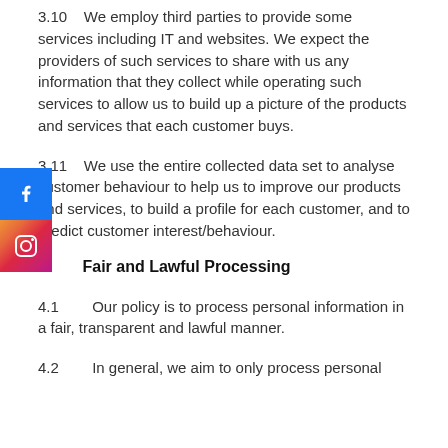3.10    We employ third parties to provide some services including IT and websites. We expect the providers of such services to share with us any information that they collect while operating such services to allow us to build up a picture of the products and services that each customer buys.
3.11    We use the entire collected data set to analyse customer behaviour to help us to improve our products and services, to build a profile for each customer, and to predict customer interest/behaviour.
4    Fair and Lawful Processing
4.1    Our policy is to process personal information in a fair, transparent and lawful manner.
4.2    In general, we aim to only process personal